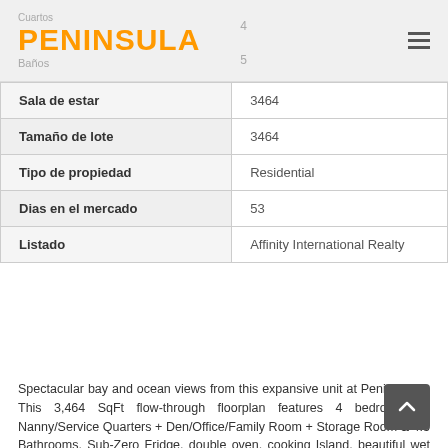PENINSULA
| Property | Value |
| --- | --- |
| Sala de estar | 3464 |
| Tamaño de lote | 3464 |
| Tipo de propiedad | Residential |
| Dias en el mercado | 53 |
| Listado | Affinity International Realty |
Spectacular bay and ocean views from this expansive unit at Peninsula II. This 3,464 SqFt flow-through floorplan features 4 bedrooms + Nanny/Service Quarters + Den/Office/Family Room + Storage Room & 4.5 Bathrooms. Sub-Zero Fridge, double oven, cooking Island, beautiful wet bar with onyx counter-top and wine cooler. 4th bedroom has been converted as an office and playroom, can easily be converted back. Full-service building with the best amenities: Fitness complex with 3